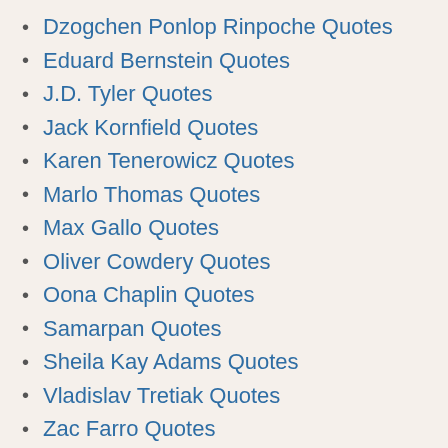Dzogchen Ponlop Rinpoche Quotes
Eduard Bernstein Quotes
J.D. Tyler Quotes
Jack Kornfield Quotes
Karen Tenerowicz Quotes
Marlo Thomas Quotes
Max Gallo Quotes
Oliver Cowdery Quotes
Oona Chaplin Quotes
Samarpan Quotes
Sheila Kay Adams Quotes
Vladislav Tretiak Quotes
Zac Farro Quotes